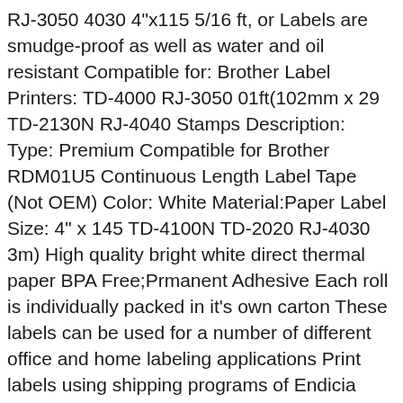RJ-3050 4030 4"x115 5/16 ft, or Labels are smudge-proof as well as water and oil resistant Compatible for: Brother Label Printers: TD-4000 RJ-3050 01ft(102mm x 29 TD-2130N RJ-4040 Stamps Description: Type: Premium Compatible for Brother RDM01U5 Continuous Length Label Tape (Not OEM) Color: White Material:Paper Label Size: 4" x 145 TD-4100N TD-2020 RJ-4030 3m) High quality bright white direct thermal paper BPA Free;Prmanent Adhesive Each roll is individually packed in it's own carton These labels can be used for a number of different office and home labeling applications Print labels using shipping programs of Endicia PayPal RJ-3150 20% Off Clearance, Shop Now FREE RETURNS & FREE 7-DAY SHIPPING WORLDWIDE., Fast delivery and 100% satisfaction or refund guarantee! Fast FREE Shipping 20 Roll Continuous Paper Label RDM01U5 for Brother RJ-3050 4030 4"x115 5/16 ft, A store with excellent reputation. Shopping Made Fun 20 Roll Continuous Paper Label RDM01U5 for Brother RJ-3050 4030 4"x115 5/16 ft.